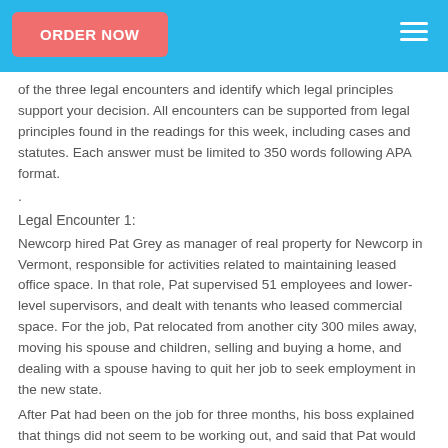ORDER NOW [hamburger menu]
of the three legal encounters and identify which legal principles support your decision. All encounters can be supported from legal principles found in the readings for this week, including cases and statutes. Each answer must be limited to 350 words following APA format.
.
Legal Encounter 1:
Newcorp hired Pat Grey as manager of real property for Newcorp in Vermont, responsible for activities related to maintaining leased office space. In that role, Pat supervised 51 employees and lower-level supervisors, and dealt with tenants who leased commercial space. For the job, Pat relocated from another city 300 miles away, moving his spouse and children, selling and buying a home, and dealing with a spouse having to quit her job to seek employment in the new state.
After Pat had been on the job for three months, his boss explained that things did not seem to be working out, and said that Pat would be discharged with 30 days severance pay. Pat was surprised because his employer gave no indication of any problem on the job. Newcorp's Personnel Manual, which had been provided to Pat upon his acceptance of employment, outlined the process for dealing with unsatisfactory employees: